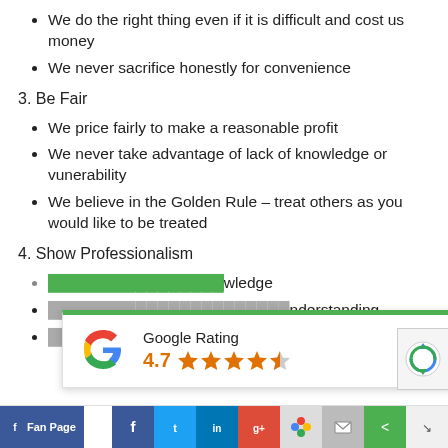We do the right thing even if it is difficult and cost us money
We never sacrifice honestly for convenience
3. Be Fair
We price fairly to make a reasonable profit
We never take advantage of lack of knowledge or vunerability
We believe in the Golden Rule – treat others as you would like to be treated
4. Show Professionalism
We keep current technical knowledge
...understanding
...me and treat it like
[Figure (other): Google Rating overlay showing 4.7 stars out of 5, with 4 filled stars and 1 half star]
[Figure (other): reCAPTCHA badge]
Fan Page | Facebook | Twitter | LinkedIn | Google+ | Google | Mail | Share